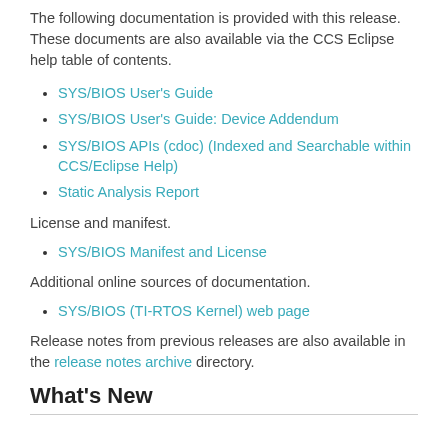The following documentation is provided with this release. These documents are also available via the CCS Eclipse help table of contents.
SYS/BIOS User's Guide
SYS/BIOS User's Guide: Device Addendum
SYS/BIOS APIs (cdoc) (Indexed and Searchable within CCS/Eclipse Help)
Static Analysis Report
License and manifest.
SYS/BIOS Manifest and License
Additional online sources of documentation.
SYS/BIOS (TI-RTOS Kernel) web page
Release notes from previous releases are also available in the release notes archive directory.
What's New